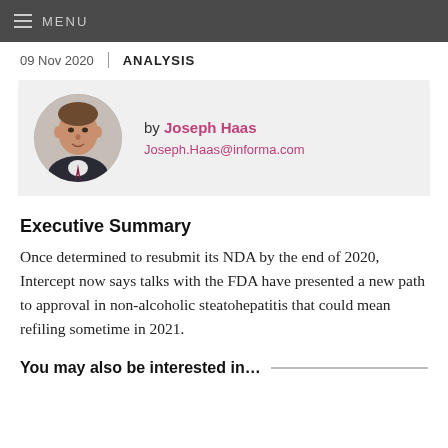MENU
09 Nov 2020 | ANALYSIS
[Figure (photo): Circular headshot photo of Joseph Haas, a middle-aged man in a dark suit]
by Joseph Haas
Joseph.Haas@informa.com
Executive Summary
Once determined to resubmit its NDA by the end of 2020, Intercept now says talks with the FDA have presented a new path to approval in non-alcoholic steatohepatitis that could mean refiling sometime in 2021.
You may also be interested in…